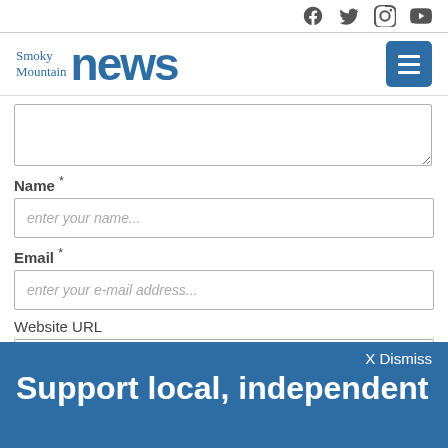Smoky Mountain news [with social icons: Facebook, Twitter, Instagram, YouTube]
[Figure (logo): Smoky Mountain News logo with social media icons (Facebook, Twitter, Instagram, YouTube) and hamburger menu button]
(textarea field)
Name *
enter your name...
Email *
enter your e-mail address...
Website URL
X Dismiss
Support local, independent